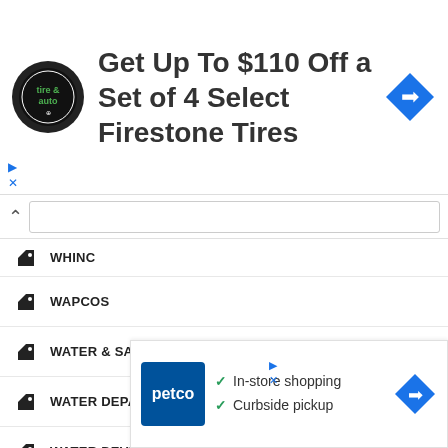[Figure (screenshot): Advertisement banner for Firestone Tires: 'Get Up To $110 Off a Set of 4 Select Firestone Tires' with tire & auto logo and blue diamond arrow icon]
WHINC
WAPCOS
WATER & SANITATION DEPARTMENT
WATER DEPARTMENT
WATER DEVELOPMENT
WBPDCL
WCDD
WCR
WEST
WEST
[Figure (screenshot): Advertisement for Petco showing logo with text: 'In-store shopping' and 'Curbside pickup' with checkmarks and blue diamond arrow icon]